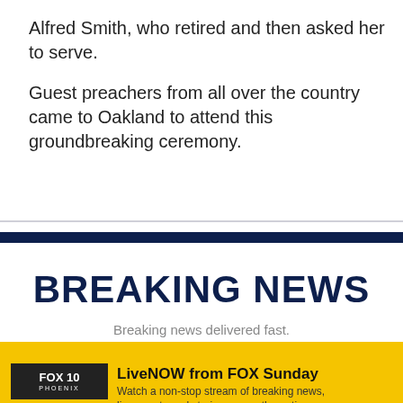Alfred Smith, who retired and then asked her to serve.
Guest preachers from all over the country came to Oakland to attend this groundbreaking ceremony.
BREAKING NEWS
Breaking news delivered fast.
[Figure (screenshot): FOX 10 Phoenix logo on dark background with golden sunset]
WATCH LIVE
LiveNOW from FOX Sunday
Watch a non-stop stream of breaking news, live events and stories across the nation.